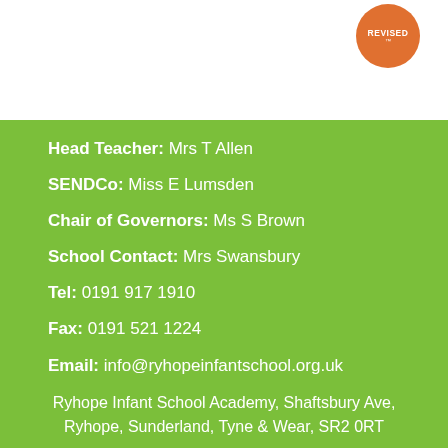[Figure (logo): Orange circular badge with 'REVISED' text and TM mark]
Head Teacher: Mrs T Allen
SENDCo: Miss E Lumsden
Chair of Governors: Ms S Brown
School Contact: Mrs Swansbury
Tel: 0191 917 1910
Fax: 0191 521 1224
Email: info@ryhopeinfantschool.org.uk
Ryhope Infant School Academy, Shaftsbury Ave, Ryhope, Sunderland, Tyne & Wear, SR2 0RT